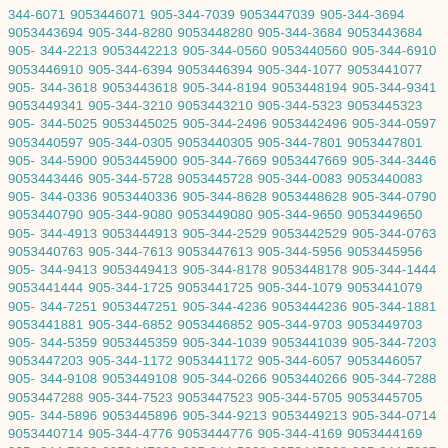344-6071 9053446071 905-344-7039 9053447039 905-344-3694 9053443694 905-344-8280 9053448280 905-344-3684 9053443684 905-344-2213 9053442213 905-344-0560 9053440560 905-344-6910 9053446910 905-344-6394 9053446394 905-344-1077 9053441077 905-344-3618 9053443618 905-344-8194 9053448194 905-344-9341 9053449341 905-344-3210 9053443210 905-344-5323 9053445323 905-344-5025 9053445025 905-344-2496 9053442496 905-344-0597 9053440597 905-344-0305 9053440305 905-344-7801 9053447801 905-344-5900 9053445900 905-344-7669 9053447669 905-344-3446 9053443446 905-344-5728 9053445728 905-344-0083 9053440083 905-344-0336 9053440336 905-344-8628 9053448628 905-344-0790 9053440790 905-344-9080 9053449080 905-344-9650 9053449650 905-344-4913 9053444913 905-344-2529 9053442529 905-344-0763 9053440763 905-344-7613 9053447613 905-344-5956 9053445956 905-344-9413 9053449413 905-344-8178 9053448178 905-344-1444 9053441444 905-344-1725 9053441725 905-344-1079 9053441079 905-344-7251 9053447251 905-344-4236 9053444236 905-344-1881 9053441881 905-344-6852 9053446852 905-344-9703 9053449703 905-344-5359 9053445359 905-344-1039 9053441039 905-344-7203 9053447203 905-344-1172 9053441172 905-344-6057 9053446057 905-344-9108 9053449108 905-344-0266 9053440266 905-344-7288 9053447288 905-344-7523 9053447523 905-344-5705 9053445705 905-344-5896 9053445896 905-344-9213 9053449213 905-344-0714 9053440714 905-344-4776 9053444776 905-344-4169 9053444169 905-344-7836 9053447836 905-344-5938 9053445938 905-344-7037 9053447037 905-344-1787 9053441787 905-344-4209 9053444209 905-344-5988 9053445988 905-344-0521 9053440521 905-344-7297